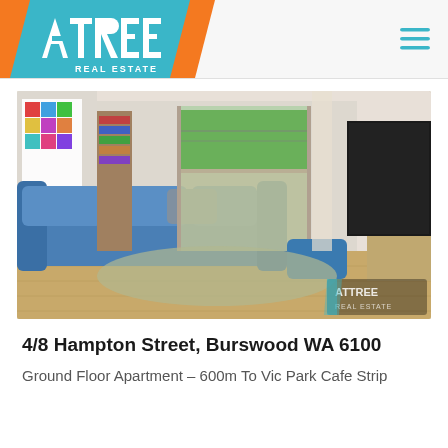Attree Real Estate
[Figure (photo): Interior living room photo showing a large blue sofa, light wood flooring, a TV on a media unit, and sliding glass doors leading to a small garden. An Attree Real Estate watermark is visible in the bottom right corner.]
4/8 Hampton Street, Burswood WA 6100
Ground Floor Apartment - 600m To Vic Park Cafe Strip